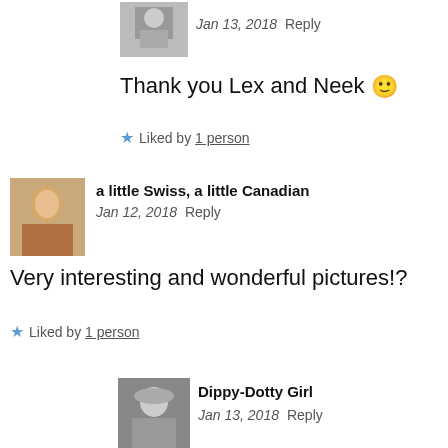[Figure (photo): Small square avatar photo of a person, black and white, top of page]
Jan 13, 2018   Reply
Thank you Lex and Neek 🙂
★ Liked by 1 person
[Figure (photo): Square avatar photo of a woman with dark hair, color]
a little Swiss, a little Canadian
Jan 12, 2018   Reply
Very interesting and wonderful pictures!?
★ Liked by 1 person
[Figure (photo): Square black and white avatar photo of a person wearing a hat]
Dippy-Dotty Girl
Jan 13, 2018   Reply